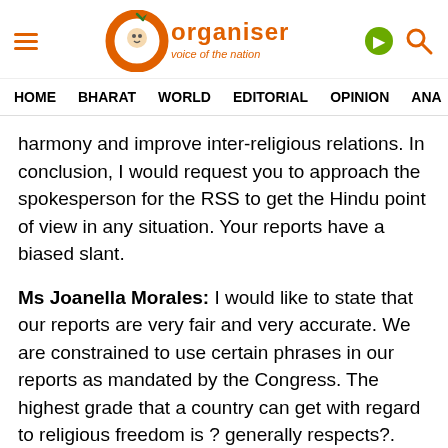Organiser - voice of the nation
HOME  BHARAT  WORLD  EDITORIAL  OPINION  ANA
harmony and improve inter-religious relations. In conclusion, I would request you to approach the spokesperson for the RSS to get the Hindu point of view in any situation. Your reports have a biased slant.
Ms Joanella Morales: I would like to state that our reports are very fair and very accurate. We are constrained to use certain phrases in our reports as mandated by the Congress. The highest grade that a country can get with regard to religious freedom is ? generally respects?. And this year, India'sreport is much better when compared to previous years. We have stated in our report this September that India?